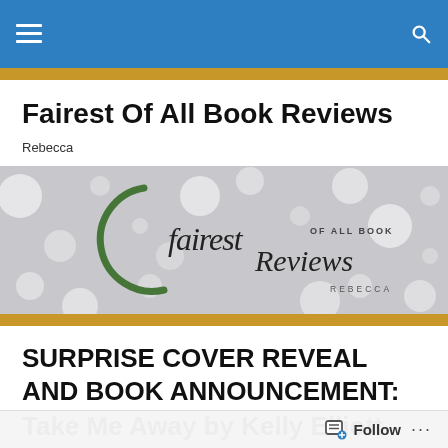Fairest Of All Book Reviews navigation bar
Fairest Of All Book Reviews
Rebecca
[Figure (logo): Fairest Of All Book Reviews logo banner with cursive script text on a bokeh silver background with a green circular brushstroke, credited to Rebecca]
SURPRISE COVER REVEAL AND BOOK ANNOUNCEMENT: Take Me Away by Kelly Elliott